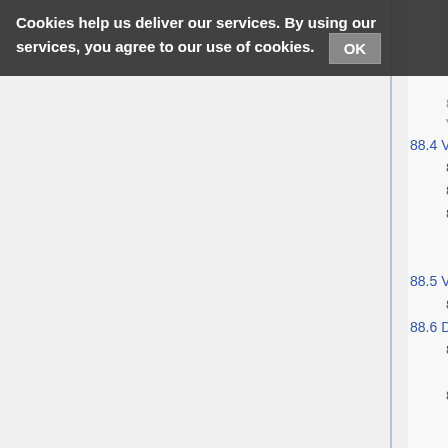Cookies help us deliver our services. By using our services, you agree to our use of cookies. OK
88.3.2.1 DBOOT VER1228
88.4 V110
88.4.1 First Circle? with DBOOT VER1.03
88.4.2 Nintendo with DBOOT VER1.03 + MSPIC
88.4.3 Unique builds
88.4.3.1 DBOOT VER1.05
88.4.3.2 --DB(1.81) SQ(1.23)by T's 01
88.5 V111
88.5.1 DBOOT VER1.04
88.6 DB/SQ (Bullet Proof Software & T's Music)
88.6.1 SQ 1.16 (no text SPC-side)
88.6.1.1 DB(1.12) SQ(1.16)by BPS
88.6.2 SQ 1.23 (no text SPC-side)